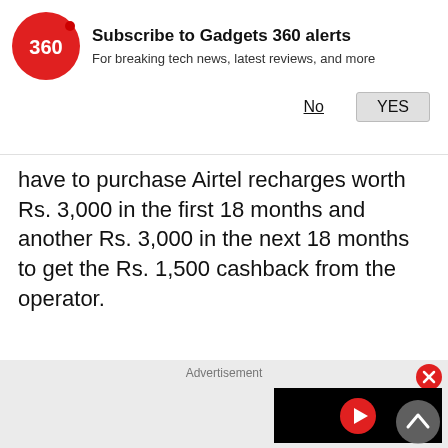[Figure (logo): Gadgets 360 logo — red circle with '360' text in white]
Subscribe to Gadgets 360 alerts
For breaking tech news, latest reviews, and more
No   YES
have to purchase Airtel recharges worth Rs. 3,000 in the first 18 months and another Rs. 3,000 in the next 18 months to get the Rs. 1,500 cashback from the operator.
[Figure (screenshot): Advertisement panel with a video player showing a red play button on black background, and a close (X) button in red circle. A scroll-to-top arrow button is visible at bottom right.]